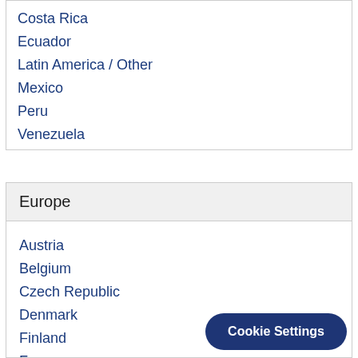Costa Rica
Ecuador
Latin America / Other
Mexico
Peru
Venezuela
Europe
Austria
Belgium
Czech Republic
Denmark
Finland
France
Cookie Settings